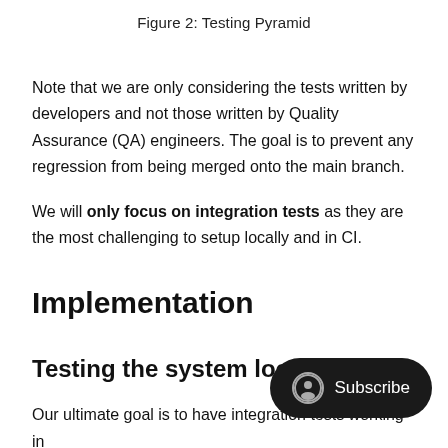Figure 2: Testing Pyramid
Note that we are only considering the tests written by developers and not those written by Quality Assurance (QA) engineers. The goal is to prevent any regression from being merged onto the main branch.
We will only focus on integration tests as they are the most challenging to setup locally and in CI.
Implementation
Testing the system loca
Our ultimate goal is to have integration tests working in